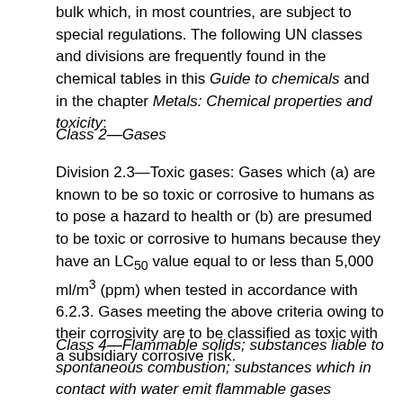bulk which, in most countries, are subject to special regulations. The following UN classes and divisions are frequently found in the chemical tables in this Guide to chemicals and in the chapter Metals: Chemical properties and toxicity:
Class 2—Gases
Division 2.3—Toxic gases: Gases which (a) are known to be so toxic or corrosive to humans as to pose a hazard to health or (b) are presumed to be toxic or corrosive to humans because they have an LC50 value equal to or less than 5,000 ml/m³ (ppm) when tested in accordance with 6.2.3. Gases meeting the above criteria owing to their corrosivity are to be classified as toxic with a subsidiary corrosive risk.
Class 4—Flammable solids; substances liable to spontaneous combustion; substances which in contact with water emit flammable gases